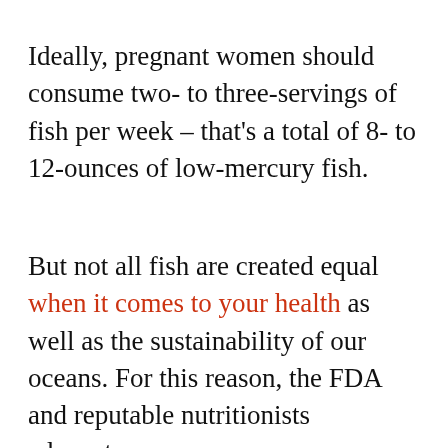Ideally, pregnant women should consume two- to three-servings of fish per week – that's a total of 8- to 12-ounces of low-mercury fish.
But not all fish are created equal when it comes to your health as well as the sustainability of our oceans. For this reason, the FDA and reputable nutritionists advocate…